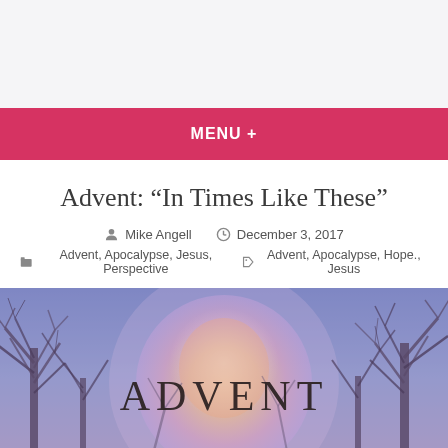MENU +
Advent: “In Times Like These”
Mike Angell  December 3, 2017
Advent, Apocalypse, Jesus, Perspective  Advent, Apocalypse, Hope., Jesus
[Figure (photo): Advent themed image with bare winter trees silhouetted against a purple-blue sky, a large glowing moon/circle in the center, with the word ADVENT printed in large serif letters across the circle.]